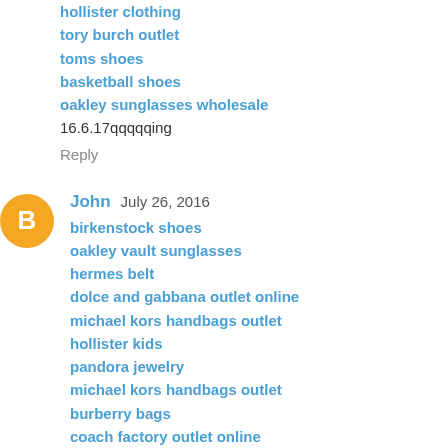hollister clothing
tory burch outlet
toms shoes
basketball shoes
oakley sunglasses wholesale
16.6.17qqqqqing
Reply
John  July 26, 2016
birkenstock shoes
oakley vault sunglasses
hermes belt
dolce and gabbana outlet online
michael kors handbags outlet
hollister kids
pandora jewelry
michael kors handbags outlet
burberry bags
coach factory outlet online
gucci outlet online